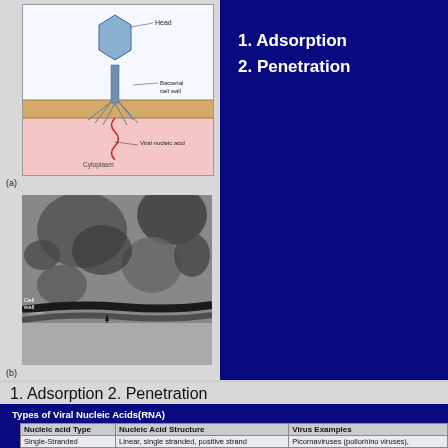[Figure (illustration): Diagram (a): Bacteriophage injecting viral nucleic acid through bacterial cell wall into cytoplasm. Labels: Head, Bacterial cell wall, Viral nucleic acid, Cytoplasm.]
[Figure (photo): Electron micrograph (b) showing bacteriophages attached to bacterial cell wall.]
1. Adsorption
2. Penetration
1. Adsorption 2. Penetration
Types of Viral Nucleic Acids(RNA)
| Nucleic acid Type | Nucleic Acid Structure | Virus Examples |
| --- | --- | --- |
| Single-Stranded | Linear, single stranded, positive strand | Picornaviruses (poliorhino viruses), |